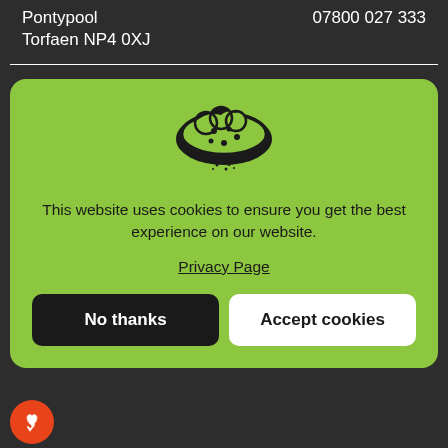Pontypool    07800 027 333
Torfaen NP4 0XJ
[Figure (illustration): Cookie consent modal with a cookie icon on a green background, containing text about cookies, a Privacy Page link, and two buttons: No thanks and Accept cookies]
This website uses cookies to ensure you get the best experience on our website.
Privacy Page
No thanks
Accept cookies